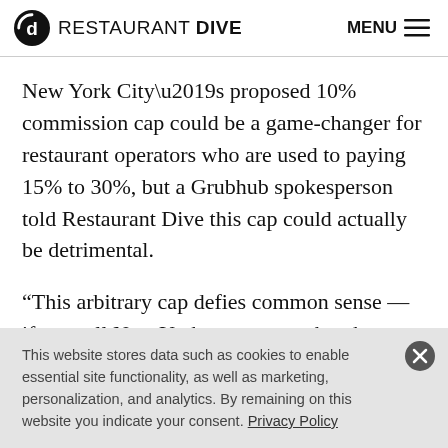RESTAURANT DIVE | MENU
New York City’s proposed 10% commission cap could be a game-changer for restaurant operators who are used to paying 15% to 30%, but a Grubhub spokesperson told Restaurant Dive this cap could actually be detrimental.
“This arbitrary cap defies common sense — if you tell New York restaurants that they can only sell pizza for a quarter and coffee for a nickel, no one will serve pizza or coffee,” a company spokesperson said. “Simply put, this
This website stores data such as cookies to enable essential site functionality, as well as marketing, personalization, and analytics. By remaining on this website you indicate your consent. Privacy Policy